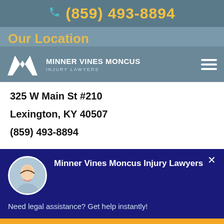(859) 493-8894
Our Location
[Figure (logo): Minner Vines Moncus Injury Lawyers logo with M mark and firm name]
325 W Main St #210
Lexington, KY 40507
(859) 493-8894
[Figure (photo): Chat widget showing Minner Vines Moncus Injury Lawyers with a female lawyer avatar and message: Need legal assistance? Get help instantly!]
FREE CASE EVALUATION